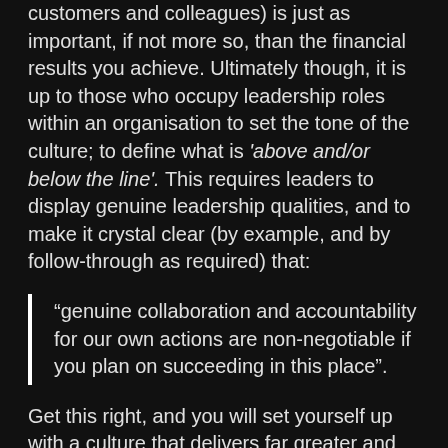customers and colleagues) is just as important, if not more so, than the financial results you achieve. Ultimately though, it is up to those who occupy leadership roles within an organisation to set the tone of the culture; to define what is 'above and/or below the line'. This requires leaders to display genuine leadership qualities, and to make it crystal clear (by example, and by follow-through as required) that:
“genuine collaboration and accountability for our own actions are non-negotiable if you plan on succeeding in this place”.
Get this right, and you will set yourself up with a culture that delivers far greater and more consistent long term success than the short term spikes delivered by a Jerk!